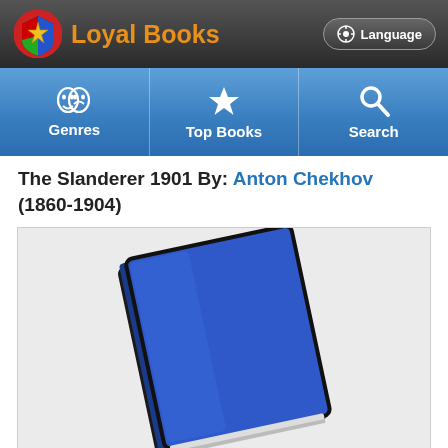Loyal Books | Language
[Figure (other): Navigation bar with Genres, Top Books, and Search icons]
The Slanderer 1901  By: Anton Chekhov (1860-1904)
[Figure (illustration): A blue book cover tilted at an angle, with a dark border/spine, on a light gray background]